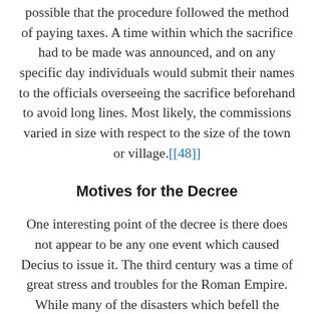possible that the procedure followed the method of paying taxes. A time within which the sacrifice had to be made was announced, and on any specific day individuals would submit their names to the officials overseeing the sacrifice beforehand to avoid long lines. Most likely, the commissions varied in size with respect to the size of the town or village.[[48]]
Motives for the Decree
One interesting point of the decree is there does not appear to be any one event which caused Decius to issue it. The third century was a time of great stress and troubles for the Roman Empire. While many of the disasters which befell the Empire lay in the